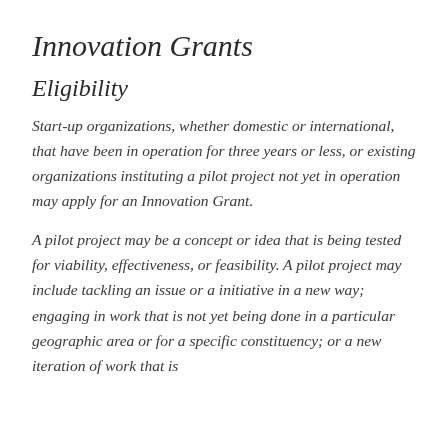Innovation Grants
Eligibility
Start-up organizations, whether domestic or international, that have been in operation for three years or less, or existing organizations instituting a pilot project not yet in operation may apply for an Innovation Grant.
A pilot project may be a concept or idea that is being tested for viability, effectiveness, or feasibility. A pilot project may include tackling an issue or a initiative in a new way; engaging in work that is not yet being done in a particular geographic area or for a specific constituency; or a new iteration of work that is